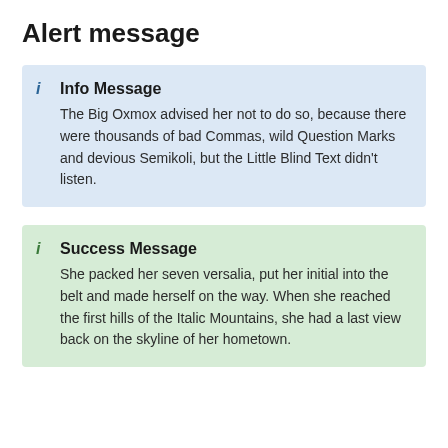Alert message
Info Message
The Big Oxmox advised her not to do so, because there were thousands of bad Commas, wild Question Marks and devious Semikoli, but the Little Blind Text didn't listen.
Success Message
She packed her seven versalia, put her initial into the belt and made herself on the way. When she reached the first hills of the Italic Mountains, she had a last view back on the skyline of her hometown.